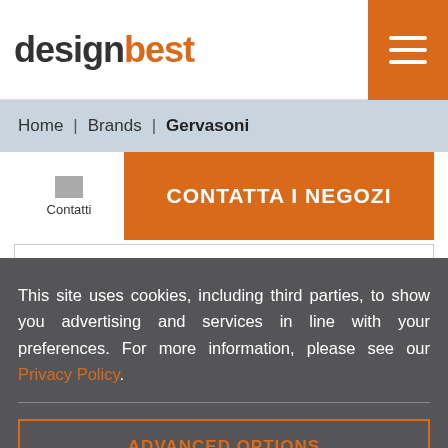designbest
Home | Brands | Gervasoni
CONTATTA I NEGOZI
SHOW FILTERS
This site uses cookies, including third parties, to show you advertising and services in line with your preferences. For more information, please see our Privacy Policy.
ADVANCED OPTIONS
ACCEPT ALL